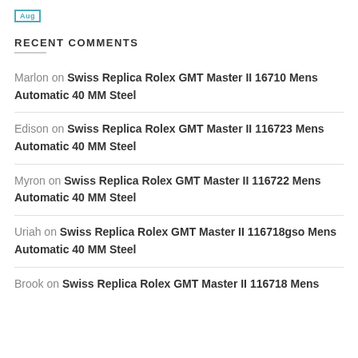[Figure (other): Small teal bordered badge reading 'Aug']
RECENT COMMENTS
Marlon on Swiss Replica Rolex GMT Master II 16710 Mens Automatic 40 MM Steel
Edison on Swiss Replica Rolex GMT Master II 116723 Mens Automatic 40 MM Steel
Myron on Swiss Replica Rolex GMT Master II 116722 Mens Automatic 40 MM Steel
Uriah on Swiss Replica Rolex GMT Master II 116718gso Mens Automatic 40 MM Steel
Brook on Swiss Replica Rolex GMT Master II 116718 Mens